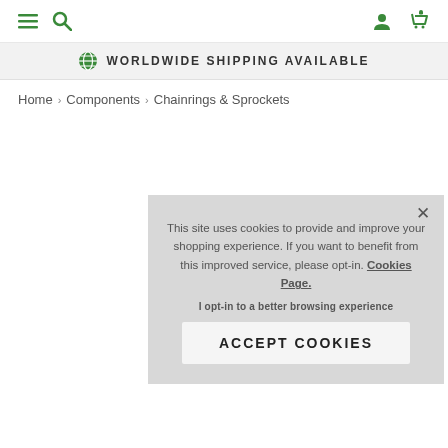Navigation bar with hamburger menu, search, user account, and cart icons
WORLDWIDE SHIPPING AVAILABLE
Home > Components > Chainrings & Sprockets
This site uses cookies to provide and improve your shopping experience. If you want to benefit from this improved service, please opt-in. Cookies Page.
I opt-in to a better browsing experience
ACCEPT COOKIES